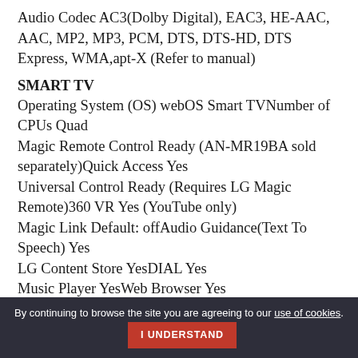Audio Codec AC3(Dolby Digital), EAC3, HE-AAC, AAC, MP2, MP3, PCM, DTS, DTS-HD, DTS Express, WMA,apt-X (Refer to manual)
SMART TV
Operating System (OS) webOS Smart TVNumber of CPUs Quad
Magic Remote Control Ready (AN-MR19BA sold separately)Quick Access Yes
Universal Control Ready (Requires LG Magic Remote)360 VR Yes (YouTube only)
Magic Link Default: offAudio Guidance(Text To Speech) Yes
LG Content Store YesDIAL Yes
Music Player YesWeb Browser Yes
Mobile TV On YesWi-Fi TV On Yes
By continuing to browse the site you are agreeing to our use of cookies. I UNDERSTAND